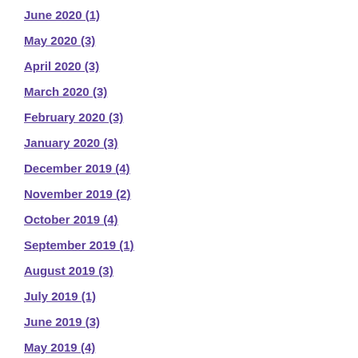June 2020 (1)
May 2020 (3)
April 2020 (3)
March 2020 (3)
February 2020 (3)
January 2020 (3)
December 2019 (4)
November 2019 (2)
October 2019 (4)
September 2019 (1)
August 2019 (3)
July 2019 (1)
June 2019 (3)
May 2019 (4)